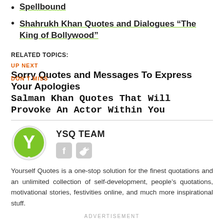Spellbound
Shahrukh Khan Quotes and Dialogues “The King of Bollywood”
RELATED TOPICS:
UP NEXT
Sorry Quotes and Messages To Express Your Apologies
DON’T MISS
Salman Khan Quotes That Will Provoke An Actor Within You
[Figure (logo): YSQ Team logo: circular green badge with white Y letter and speech bubble tail]
YSQ TEAM
[Figure (illustration): Facebook and Twitter social media icons]
Yourself Quotes is a one-stop solution for the finest quotations and an unlimited collection of self-development, people’s quotations, motivational stories, festivities online, and much more inspirational stuff.
ADVERTISEMENT